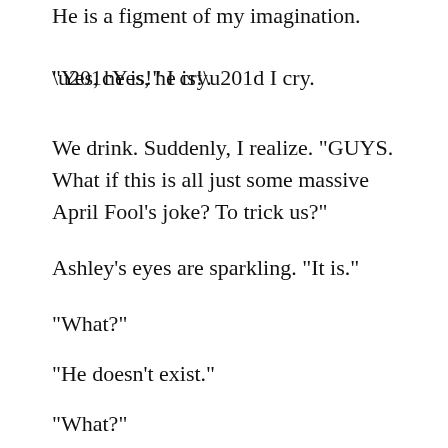He is a figment of my imagination.
“Yes, he is!” I cry.
We drink. Suddenly, I realize. “GUYS. What if this is all just some massive April Fool’s joke? To trick us?”
Ashley’s eyes are sparkling. “It is.”
“What?”
“He doesn’t exist.”
“What?”
“He really doesn’t exist.”